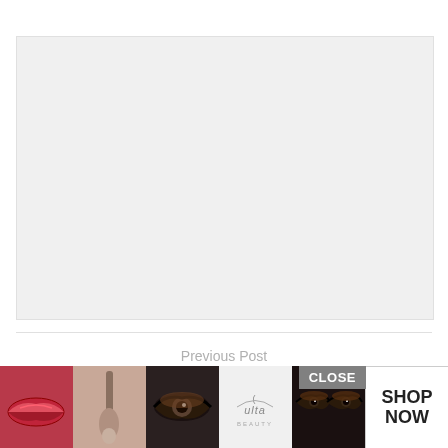[Figure (photo): Large blank/light gray placeholder image area for an article image]
Previous Post
James Bond film No Time To Die 'is set to be the world's... 'get'
[Figure (infographic): Ulta Beauty advertisement banner with close button, showing beauty product images (lips, makeup brush, eye, Ulta logo, smoky eye) and SHOP NOW button]